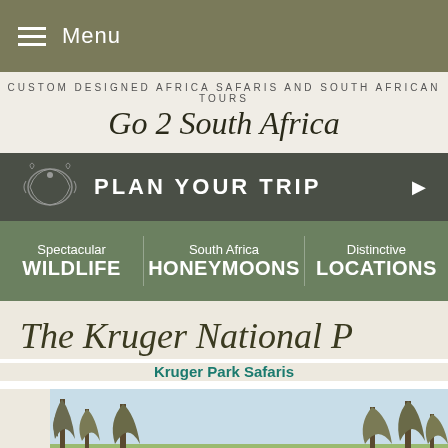Menu
CUSTOM DESIGNED AFRICA SAFARIS AND SOUTH AFRICAN TOURS
Go 2 South Africa
PLAN YOUR TRIP
Spectacular WILDLIFE
South Africa HONEYMOONS
Distinctive LOCATIONS
The Kruger National P
Kruger Park Safaris
[Figure (photo): Wildlife photograph showing trees with bare branches against a light sky, typical of Kruger National Park landscape]